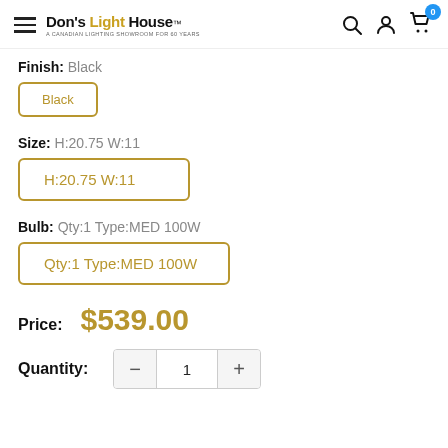Don's Light House — A Canadian Lighting Showroom for 60 Years
Finish: Black
Black (option button)
Size: H:20.75 W:11
H:20.75 W:11 (option button)
Bulb: Qty:1 Type:MED 100W
Qty:1 Type:MED 100W (option button)
Price: $539.00
Quantity: 1